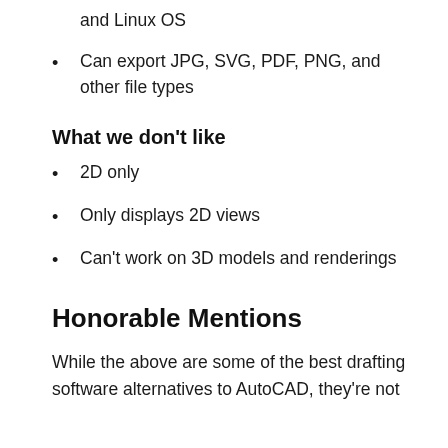and Linux OS
Can export JPG, SVG, PDF, PNG, and other file types
What we don't like
2D only
Only displays 2D views
Can't work on 3D models and renderings
Honorable Mentions
While the above are some of the best drafting software alternatives to AutoCAD, they're not